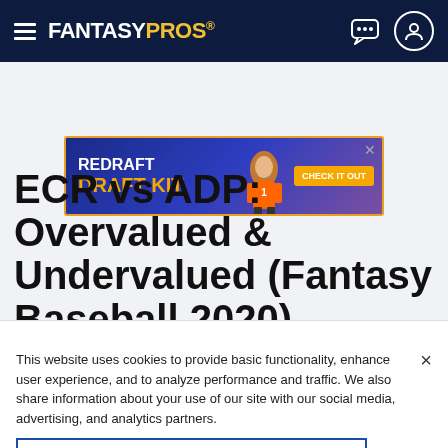FantasyPros navigation bar with hamburger menu, FantasyPros logo, chat icon and user icon
[Figure (infographic): FantasyPros advertisement banner: REDRAFT DRAFT KIT - CHECK IT OUT, with football player image, gold and blue colors]
ECR vs ADP: Overvalued & Undervalued (Fantasy Baseball 2020)
This website uses cookies to provide basic functionality, enhance user experience, and to analyze performance and traffic. We also share information about your use of our site with our social media, advertising, and analytics partners.
By using this website you agree to our Terms of Use.
Do Not Sell My Personal Information
Accept Cookies